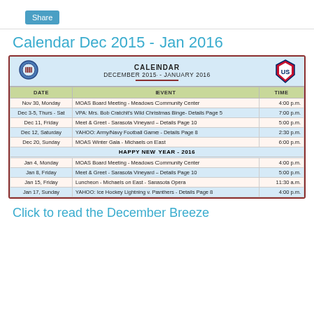Share
Calendar Dec 2015 - Jan 2016
| DATE | EVENT | TIME |
| --- | --- | --- |
| Nov 30, Monday | MOAS Board Meeting - Meadows Community Center | 4:00 p.m. |
| Dec 3-5, Thurs - Sat | VPA: Mrs. Bob Cratchit's Wild Christmas Binge- Details Page 5 | 7:00 p.m. |
| Dec 11, Friday | Meet & Greet - Sarasota Vineyard - Details Page 10 | 5:00 p.m. |
| Dec 12, Saturday | YAHOO: Army/Navy Football Game - Details Page 8 | 2:30 p.m. |
| Dec 20, Sunday | MOAS Winter Gala - Michaels on East | 6:00 p.m. |
|  | HAPPY NEW YEAR - 2016 |  |
| Jan 4, Monday | MOAS Board Meeting - Meadows Community Center | 4:00 p.m. |
| Jan 8, Friday | Meet & Greet - Sarasota Vineyard - Details Page 10 | 5:00 p.m. |
| Jan 15, Friday | Luncheon - Michaels on East - Sarasota Opera | 11:30 a.m. |
| Jan 17, Sunday | YAHOO: Ice Hockey Lightning v. Panthers - Details Page 8 | 4:00 p.m. |
Click to read the December Breeze